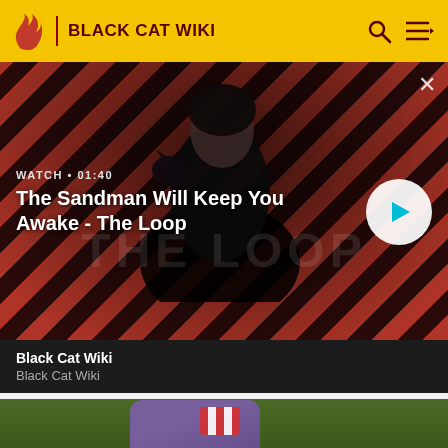BLACK CAT WIKI
[Figure (screenshot): Video thumbnail showing a dark-clad figure with a crow on shoulder against a red and black diagonal stripe background. Text overlay: WATCH • 01:40, The Sandman Will Keep You Awake - The Loop. Play button visible.]
Black Cat Wiki
Black Cat Wiki
[Figure (photo): Partial image of a colorful character/action figure with purple armor and red/white accessories against a green background.]